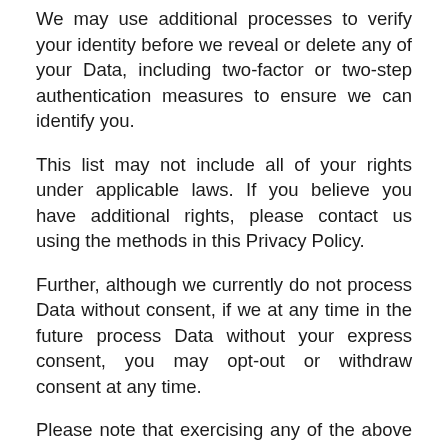We may use additional processes to verify your identity before we reveal or delete any of your Data, including two-factor or two-step authentication measures to ensure we can identify you.
This list may not include all of your rights under applicable laws. If you believe you have additional rights, please contact us using the methods in this Privacy Policy.
Further, although we currently do not process Data without consent, if we at any time in the future process Data without your express consent, you may opt-out or withdraw consent at any time.
Please note that exercising any of the above rights may limit or eliminate our ability to provide you the Services. If so, we may terminate the Services due to such requests.